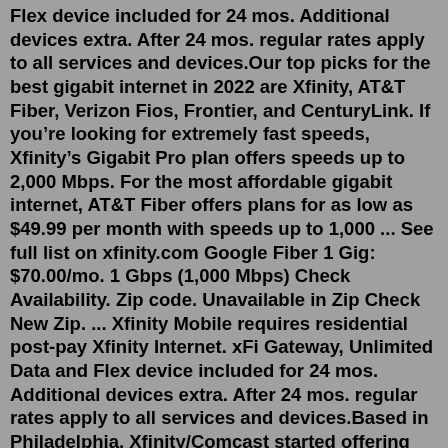Flex device included for 24 mos. Additional devices extra. After 24 mos. regular rates apply to all services and devices.Our top picks for the best gigabit internet in 2022 are Xfinity, AT&T Fiber, Verizon Fios, Frontier, and CenturyLink. If you're looking for extremely fast speeds, Xfinity's Gigabit Pro plan offers speeds up to 2,000 Mbps. For the most affordable gigabit internet, AT&T Fiber offers plans for as low as $49.99 per month with speeds up to 1,000 ... See full list on xfinity.com Google Fiber 1 Gig: $70.00/mo. 1 Gbps (1,000 Mbps) Check Availability. Zip code. Unavailable in Zip Check New Zip. ... Xfinity Mobile requires residential post-pay Xfinity Internet. xFi Gateway, Unlimited Data and Flex device included for 24 mos. Additional devices extra. After 24 mos. regular rates apply to all services and devices.Based in Philadelphia, Xfinity/Comcast started offering internet services in 1996. It became the largest provider of cable internet in the United States by 2011. The company has 26.5 million customers for its high-speed internet services. In